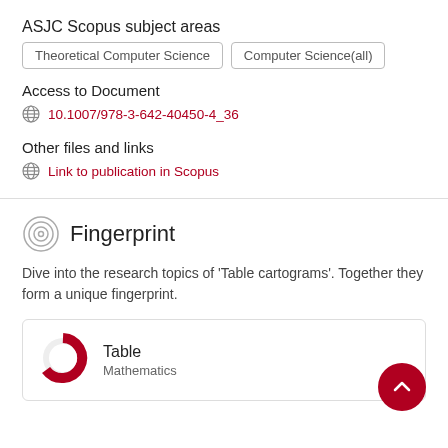ASJC Scopus subject areas
Theoretical Computer Science
Computer Science(all)
Access to Document
10.1007/978-3-642-40450-4_36
Other files and links
Link to publication in Scopus
Fingerprint
Dive into the research topics of 'Table cartograms'. Together they form a unique fingerprint.
Table
Mathematics